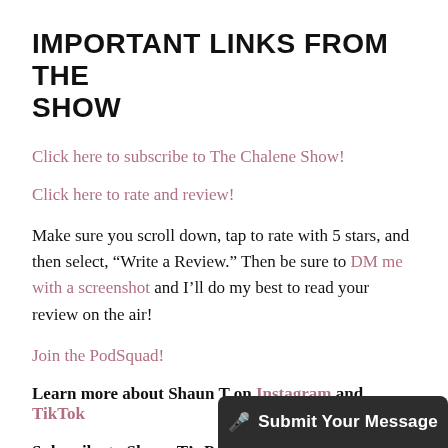IMPORTANT LINKS FROM THE SHOW
Click here to subscribe to The Chalene Show!
Click here to rate and review!
Make sure you scroll down, tap to rate with 5 stars, and then select, “Write a Review.” Then be sure to DM me with a screenshot and I’ll do my best to read your review on the air!
Join the PodSquad!
Learn more about Shaun T on Instagram and TikTok
Subscribe to Shaun T’s Po
[Figure (other): Submit Your Message button overlay at bottom right]